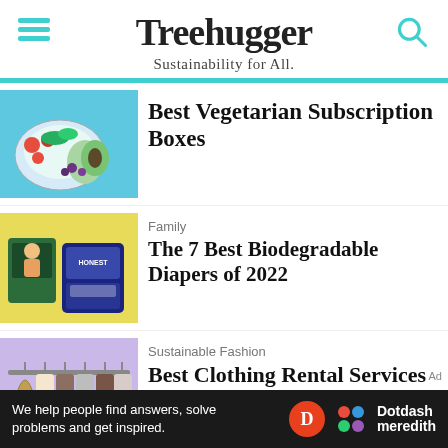Treehugger — Sustainability for All.
[Figure (photo): Colorful vegetarian food bowls with avocado, tomatoes, and greens on blue background]
Best Vegetarian Subscription Boxes
[Figure (photo): Diaper boxes including Honest brand on yellow background]
Family
The 7 Best Biodegradable Diapers of 2022
[Figure (photo): Clothing rack with coats and jackets on purple/lavender background]
Sustainable Fashion
Best Clothing Rental Services
We help people find answers, solve problems and get inspired. Dotdash meredith